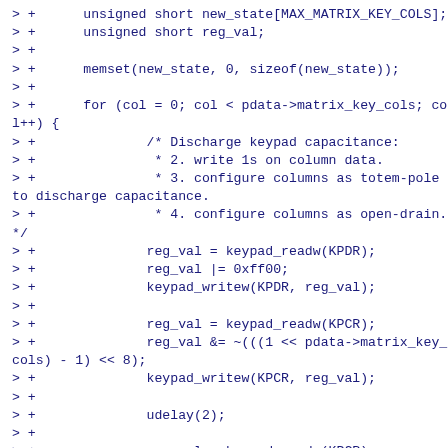> +      unsigned short new_state[MAX_MATRIX_KEY_COLS];
> +      unsigned short reg_val;
> +
> +      memset(new_state, 0, sizeof(new_state));
> +
> +      for (col = 0; col < pdata->matrix_key_cols; col++) {
> +              /* Discharge keypad capacitance:
> +               * 2. write 1s on column data.
> +               * 3. configure columns as totem-pole to discharge capacitance.
> +               * 4. configure columns as open-drain.*/
> +              reg_val = keypad_readw(KPDR);
> +              reg_val |= 0xff00;
> +              keypad_writew(KPDR, reg_val);
> +
> +              reg_val = keypad_readw(KPCR);
> +              reg_val &= ~(((1 << pdata->matrix_key_cols) - 1) << 8);
> +              keypad_writew(KPCR, reg_val);
> +
> +              udelay(2);
> +
> +              reg_val = keypad_readw(KPCR);
> +              reg_val |= ((1 << pdata-